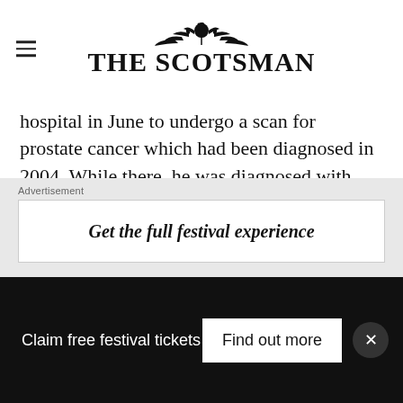THE SCOTSMAN
hospital in June to undergo a scan for prostate cancer which had been diagnosed in 2004. While there, he was diagnosed with MRSA and a urinary tract infection.
While he was in hospital, Mr Savage was given penicillin for five days, despite the fact he was wearing a wristband which clearly stated that he was allergic to it.
Advertisement
Get the full festival experience
Claim free festival tickets
Find out more